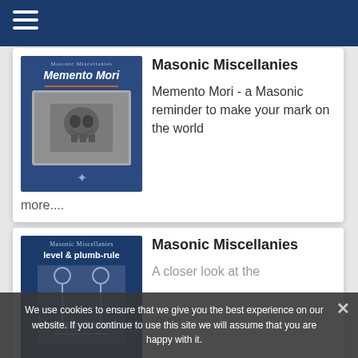≡ (hamburger menu)
[Figure (illustration): Book cover for Masonic Miscellanies - Memento Mori, dark blue background with skull relief image]
Masonic Miscellanies
Memento Mori - a Masonic reminder to make your mark on the world
more....
[Figure (illustration): Book cover for Masonic Miscellanies - level & plumb-rule, dark blue background with masonic figures]
Masonic Miscellanies
A closer look at the
more....
We use cookies to ensure that we give you the best experience on our website. If you continue to use this site we will assume that you are happy with it.